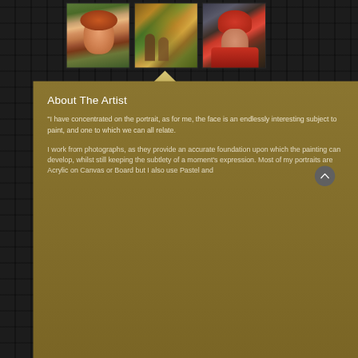[Figure (photo): Three portrait paintings shown in a row: a red-haired toddler, a garden scene with people, and a child wearing a red hat, all against a dark textured background.]
About The Artist
"I have concentrated on the portrait, as for me, the face is an endlessly interesting subject to paint, and one to which we can all relate.
I work from photographs, as they provide an accurate foundation upon which the painting can develop, whilst still keeping the subtlety of a moment’s expression. Most of my portraits are Acrylic on Canvas or Board but I also use Pastel and